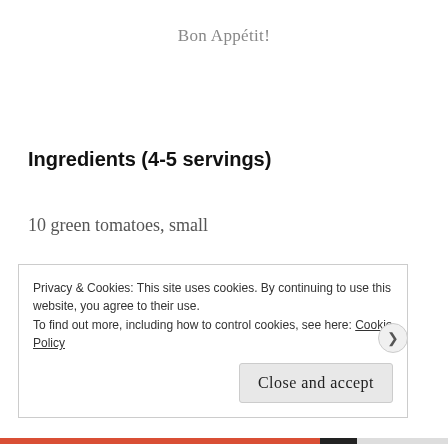Bon Appétit!
Ingredients (4-5 servings)
10 green tomatoes, small
3 tbsp. flour
1/4 tsp. salt
Privacy & Cookies: This site uses cookies. By continuing to use this website, you agree to their use.
To find out more, including how to control cookies, see here: Cookie Policy
Close and accept